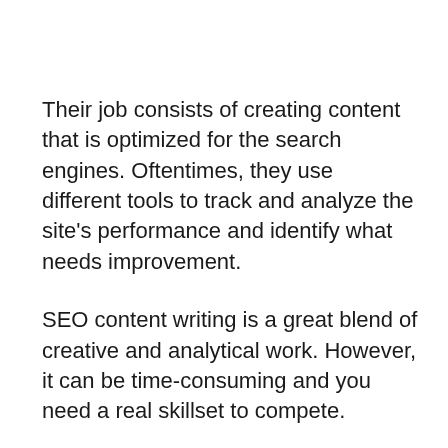Their job consists of creating content that is optimized for the search engines. Oftentimes, they use different tools to track and analyze the site’s performance and identify what needs improvement.
SEO content writing is a great blend of creative and analytical work. However, it can be time-consuming and you need a real skillset to compete.
Writing is a difficult task that usually requires long hours and a laser focus, so many question if the payback is worth the effort. Well, you can get paid anywhere from 14 to 20 dollars an hour for such work in the U.S.